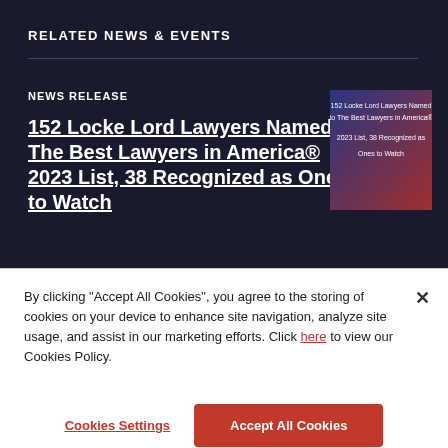RELATED NEWS & EVENTS
NEWS RELEASE
152 Locke Lord Lawyers Named to The Best Lawyers in America® 2023 List, 38 Recognized as Ones to Watch
[Figure (other): Thumbnail image with text overlay: '152 Locke Lord Lawyers Named to The Best Lawyers in America® 2023 List, 38 Recognized as Ones to Watch' on a dark blue and red gradient background]
By clicking "Accept All Cookies", you agree to the storing of cookies on your device to enhance site navigation, analyze site usage, and assist in our marketing efforts. Click here to view our Cookies Policy.
Cookies Settings
Accept All Cookies